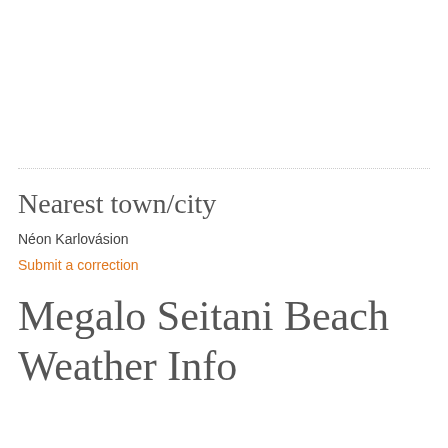Nearest town/city
Néon Karlovásion
Submit a correction
Megalo Seitani Beach Weather Info